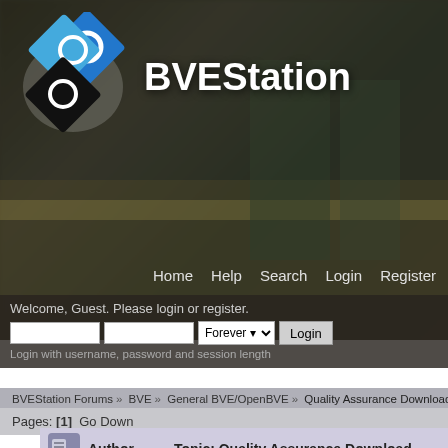[Figure (logo): BVEStation logo with three overlapping diamond shapes (blue, dark blue, black) each containing a circle/ring, and white text 'BVEStation' to the right]
Home  Help  Search  Login  Register
Welcome, Guest. Please login or register.
Login with username, password and session length
BVEStation Forums » BVE » General BVE/OpenBVE » Quality Assurance Download Su...
Pages: [1]  Go Down
Author  Topic: Quality Assurance Download...